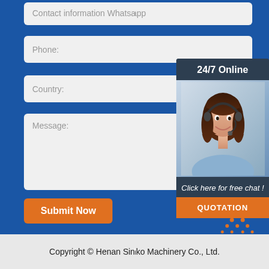Contact information Whatsapp
Phone:
Country:
Message:
Submit Now
[Figure (photo): 24/7 Online chat widget with a smiling woman wearing a headset. Contains text 'Click here for free chat!' and a QUOTATION button.]
[Figure (logo): TOP logo with orange dots arranged in a triangle above the word TOP]
Copyright © Henan Sinko Machinery Co., Ltd.